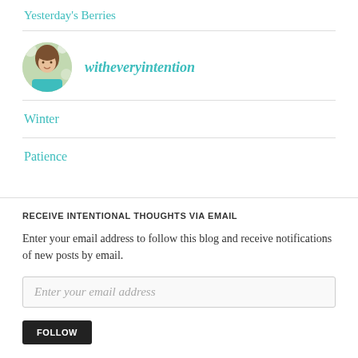Yesterday's Berries
[Figure (photo): Small circular profile photo of a woman with brown hair wearing a teal shirt, outdoors with blurred green/white background]
witheveryintention
Winter
Patience
RECEIVE INTENTIONAL THOUGHTS VIA EMAIL
Enter your email address to follow this blog and receive notifications of new posts by email.
Enter your email address